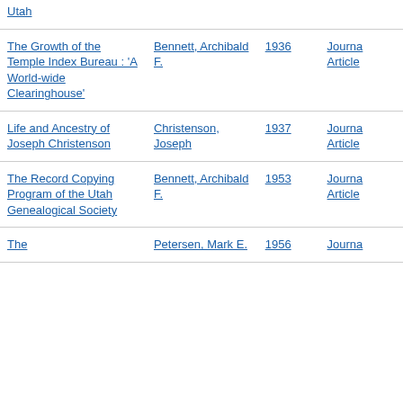| Title | Author | Year | Type |
| --- | --- | --- | --- |
| Utah |  |  |  |
| The Growth of the Temple Index Bureau : 'A World-wide Clearinghouse' | Bennett, Archibald F. | 1936 | Journal Article |
| Life and Ancestry of Joseph Christenson | Christenson, Joseph | 1937 | Journal Article |
| The Record Copying Program of the Utah Genealogical Society | Bennett, Archibald F. | 1953 | Journal Article |
| The | Petersen, Mark E. | 1956 | Journa |